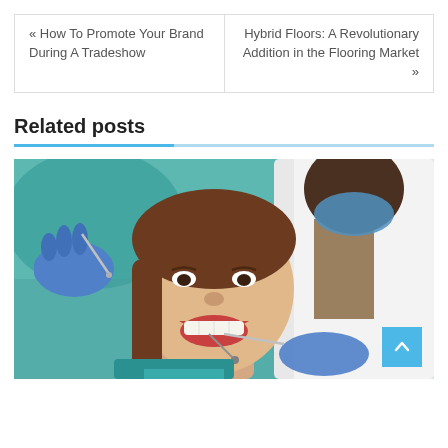« How To Promote Your Brand During A Tradeshow
Hybrid Floors: A Revolutionary Addition in the Flooring Market »
Related posts
[Figure (photo): A smiling female patient in a dental chair with mouth open, while a dentist in blue gloves and white coat examines her teeth using dental instruments. Background is a teal/blue dental office.]